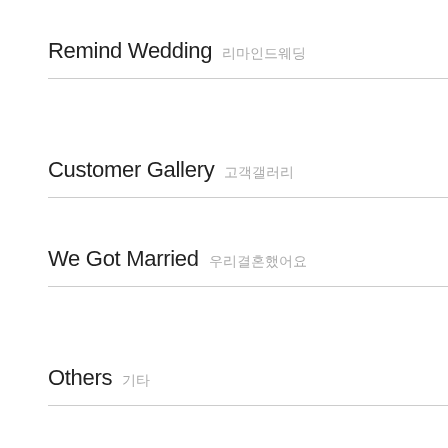Remind Wedding 리마인드웨딩
Customer Gallery 고객갤러리
We Got Married 우리결혼했어요
Others 기타